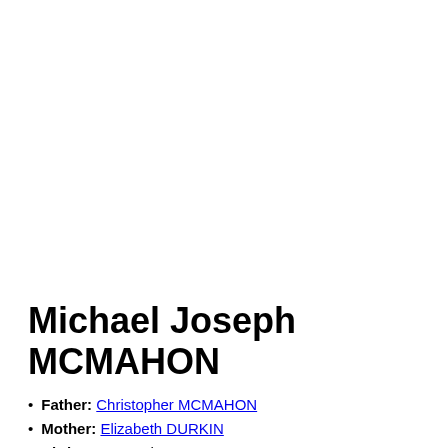Michael Joseph MCMAHON
Father: Christopher MCMAHON
Mother: Elizabeth DURKIN
Birth: 1891, Hotham East, , VIC, AUS
Death: (Date and Place unknown)